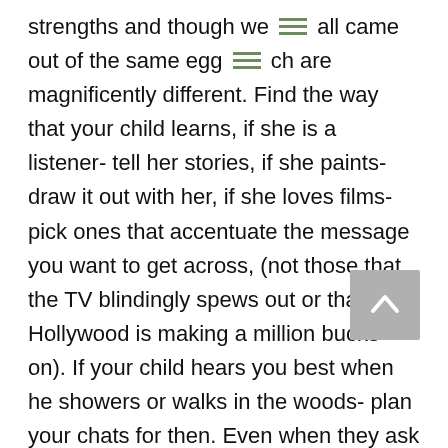strengths and though we [menu] all came out of the same egg [menu] ch are magnificently different. Find the way that your child learns, if she is a listener- tell her stories, if she paints- draw it out with her, if she loves films- pick ones that accentuate the message you want to get across, (not those that the TV blindingly spews out or that Hollywood is making a million bucks on). If your child hears you best when he showers or walks in the woods- plan your chats for then. Even when they ask a straight question, if the answer really exceeds their ability to comprehend or deal with or if telling it exceeds your capability or wisdom at that moment simply say so. Don't tell them they are "too young" for anything, but do tell them they might not be ready